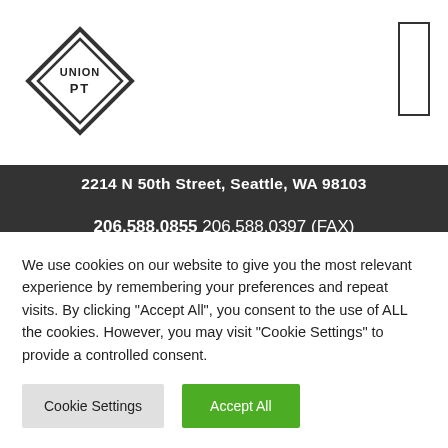[Figure (logo): Union PT diamond-shaped logo with text UNION PT inside]
2214 N 50th Street, Seattle, WA 98103
206.588.0855 206.588.0397 (FAX)
Administrative Team: admin@unionpt.com
About
Seattle Physical Therapist
We use cookies on our website to give you the most relevant experience by remembering your preferences and repeat visits. By clicking "Accept All", you consent to the use of ALL the cookies. However, you may visit "Cookie Settings" to provide a controlled consent.